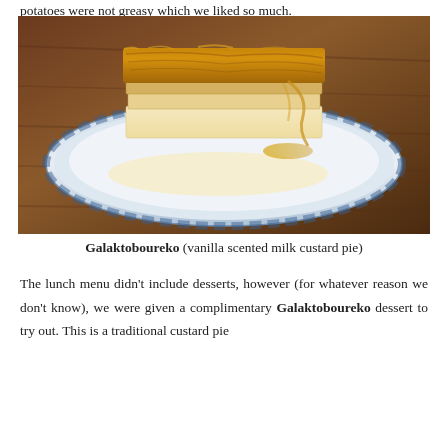potatoes were not greasy which we liked so much.
[Figure (photo): A piece of Galaktoboureko (vanilla scented milk custard pie) served on a blue and white floral decorative plate, on a wooden table background. The pastry has golden flaky phyllo dough on top with a creamy custard layer beneath.]
Galaktoboureko (vanilla scented milk custard pie)
The lunch menu didn't include desserts, however (for whatever reason we don't know), we were given a complimentary Galaktoboureko dessert to try out. This is a traditional custard pie